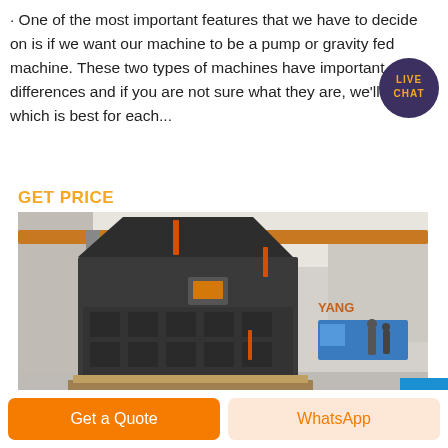· One of the most important features that we have to decide on is if we want our machine to be a pump or gravity fed machine. These two types of machines have important differences and if you are not sure what they are, we'll explain which is best for each...
[Figure (other): Live Chat speech bubble badge with dark purple background and orange text reading LIVE CHAT]
GET PRICE
[Figure (photo): Industrial crushing machine (impact crusher) sitting on a pallet inside a large factory/warehouse with overhead cranes and yellow gantry beams. A blue truck is visible in the background with YANG branding on the wall.]
Get a Quote
WhatsApp